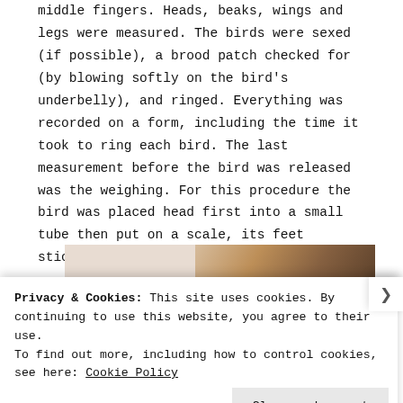middle fingers. Heads, beaks, wings and legs were measured. The birds were sexed (if possible), a brood patch checked for (by blowing softly on the bird's underbelly), and ringed. Everything was recorded on a form, including the time it took to ring each bird. The last measurement before the bird was released was the weighing. For this procedure the bird was placed head first into a small tube then put on a scale, its feet sticking up in an undignified fashion.
[Figure (photo): Partial photo showing hands writing or holding something, with warm brown tones, partially obscured by cookie consent banner.]
Privacy & Cookies: This site uses cookies. By continuing to use this website, you agree to their use. To find out more, including how to control cookies, see here: Cookie Policy